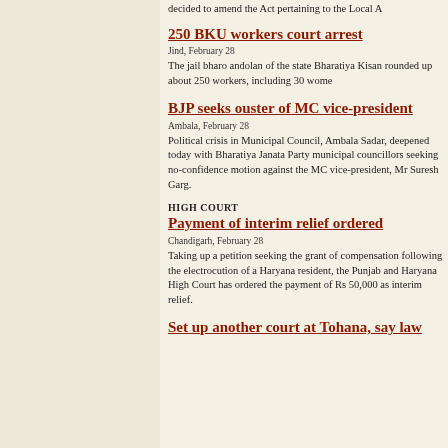decided to amend the Act pertaining to the Local A
250 BKU workers court arrest
Jind, February 28
The jail bharo andolan of the state Bharatiya Kisan rounded up about 250 workers, including 30 wome
BJP seeks ouster of MC vice-president
Ambala, February 28
Political crisis in Municipal Council, Ambala Sadar, deepened today with Bharatiya Janata Party municipal councillors seeking no-confidence motion against the MC vice-president, Mr Suresh Garg.
HIGH COURT
Payment of interim relief ordered
Chandigarh, February 28
Taking up a petition seeking the grant of compensation following the electrocution of a Haryana resident, the Punjab and Haryana High Court has ordered the payment of Rs 50,000 as interim relief.
Set up another court at Tohana, say law